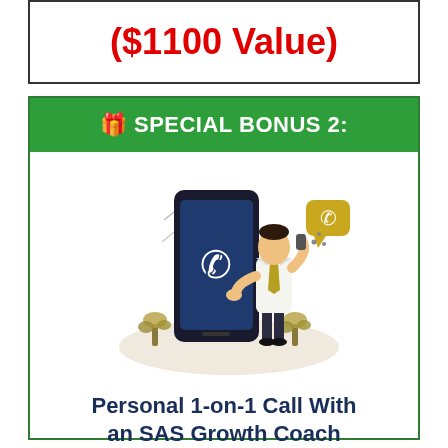($1100 Value)
🎁 SPECIAL BONUS 2:
[Figure (illustration): Isometric illustration of a businessman in a white shirt and tie talking on a phone, standing next to a large dark smartphone with a phone/call icon on the screen. There are golden speech/chat bubbles and decorative plants around the base.]
Personal 1-on-1 Call With an SAS Growth Coach